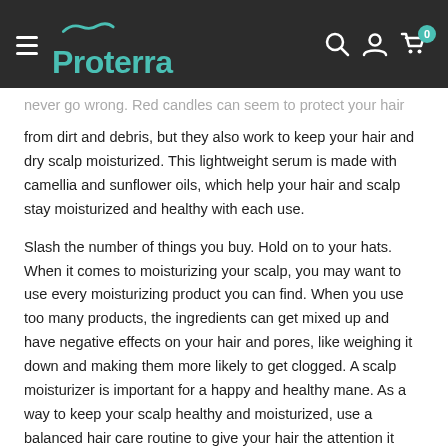[Figure (logo): Proterra logo with teal wave above text on dark background, with hamburger menu, search, account, and cart icons]
never go wrong. Red candles can seem to protect your hair from dirt and debris, but they also work to keep your hair and dry scalp moisturized. This lightweight serum is made with camellia and sunflower oils, which help your hair and scalp stay moisturized and healthy with each use.
Slash the number of things you buy. Hold on to your hats. When it comes to moisturizing your scalp, you may want to use every moisturizing product you can find. When you use too many products, the ingredients can get mixed up and have negative effects on your hair and pores, like weighing it down and making them more likely to get clogged. A scalp moisturizer is important for a happy and healthy mane. As a way to keep your scalp healthy and moisturized, use a balanced hair care routine to give your hair the attention it needs but not so much that you hurt your scalp.